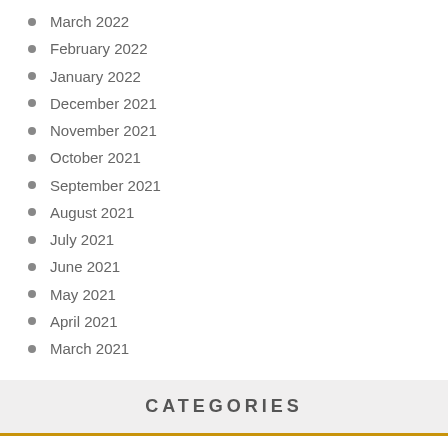March 2022
February 2022
January 2022
December 2021
November 2021
October 2021
September 2021
August 2021
July 2021
June 2021
May 2021
April 2021
March 2021
CATEGORIES
Investment
Middle Product
Over The Counter Market